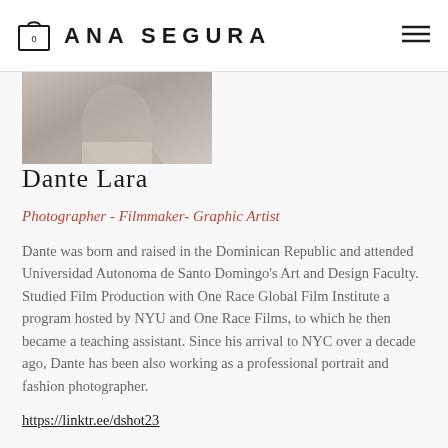ANA SEGURA
[Figure (photo): Partial black and white portrait photo of Dante Lara, cropped at the top]
Dante Lara
Photographer - Filmmaker- Graphic Artist
Dante was born and raised in the Dominican Republic and attended Universidad Autonoma de Santo Domingo's Art and Design Faculty. Studied Film Production with One Race Global Film Institute a program hosted by NYU and One Race Films, to which he then became a teaching assistant. Since his arrival to NYC over a decade ago, Dante has been also working as a professional portrait and fashion photographer.
https://linktr.ee/dshot23